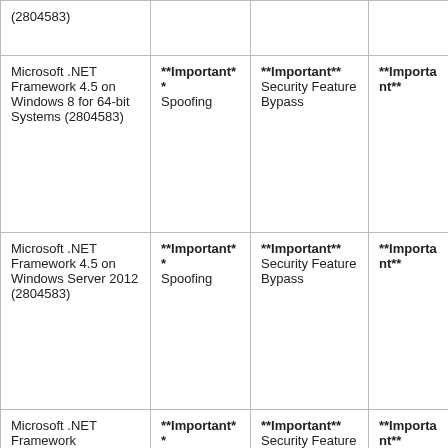| (2804583) |  |  |  |
| Microsoft .NET Framework 4.5 on Windows 8 for 64-bit Systems (2804583) | **Important** Spoofing | **Important** Security Feature Bypass | **Important** |
| Microsoft .NET Framework 4.5 on Windows Server 2012 (2804583) | **Important** Spoofing | **Important** Security Feature Bypass | **Important** |
| Microsoft .NET Framework | **Important** Spoofing | **Important** Security Feature Bypass | **Important** |